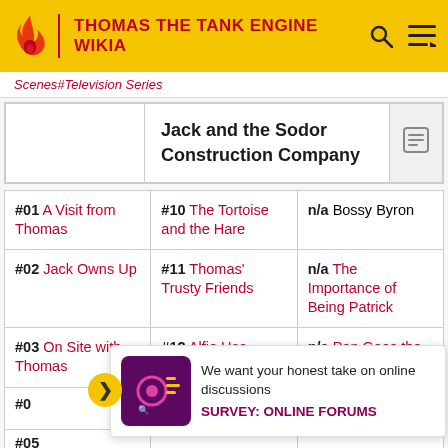THOMAS THE TANK ENGINE WIKIA
Scenes#Television Series
|  | Jack and the Sodor Construction Company |  |
| --- | --- | --- |
| #01 A Visit from Thomas | #10 The Tortoise and the Hare | n/a Bossy Byron |
| --- | --- | --- |
| #02 Jack Owns Up | #11 Thomas' Trusty Friends | n/a The Importance of Being Patrick |
| #03 On Site with Thomas | #12 Alfie Has Kittens | n/a Pop Goes the Diesel |
| #04 ... | ... | ... |
| #05 ... | ... | ... |
We want your honest take on online discussions
SURVEY: ONLINE FORUMS